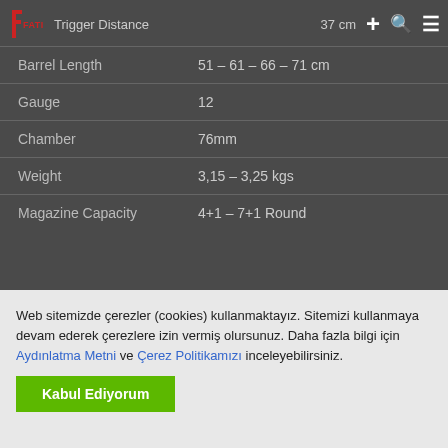Fatih Arms - Navigation bar with logo, Trigger Distance 37 cm
| Specification | Value |
| --- | --- |
| Trigger Distance | 37 cm |
| Barrel Length | 51 – 61 – 66 – 71 cm |
| Gauge | 12 |
| Chamber | 76mm |
| Weight | 3,15 – 3,25 kgs |
| Magazine Capacity | 4+1 – 7+1 Round |
Web sitemizde çerezler (cookies) kullanmaktayız. Sitemizi kullanmaya devam ederek çerezlere izin vermiş olursunuz. Daha fazla bilgi için Aydınlatma Metni ve Çerez Politikamızı inceleyebilirsiniz.
Kabul Ediyorum